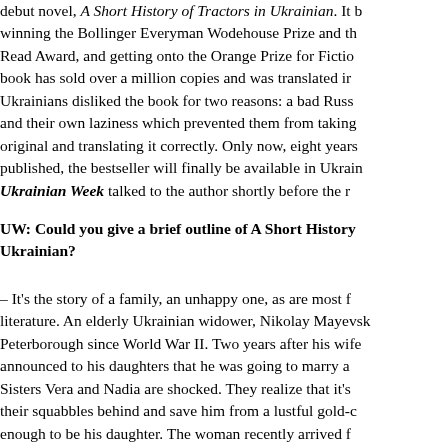debut novel, A Short History of Tractors in Ukrainian. It b winning the Bollinger Everyman Wodehouse Prize and th Read Award, and getting onto the Orange Prize for Fictio book has sold over a million copies and was translated ir Ukrainians disliked the book for two reasons: a bad Russ and their own laziness which prevented them from taking original and translating it correctly. Only now, eight years published, the bestseller will finally be available in Ukrain Ukrainian Week talked to the author shortly before the r
UW: Could you give a brief outline of A Short History Ukrainian?
– It's the story of a family, an unhappy one, as are most f literature. An elderly Ukrainian widower, Nikolay Mayevsk Peterborough since World War II. Two years after his wife announced to his daughters that he was going to marry a Sisters Vera and Nadia are shocked. They realize that it's their squabbles behind and save him from a lustful gold-c enough to be his daughter. The woman recently arrived f her teenage son and nothing will stop her in her pursuit o the Western world and her dreams. The elderly man in th also pursuing his own eccentric dreams, writing a history Ukrainian.